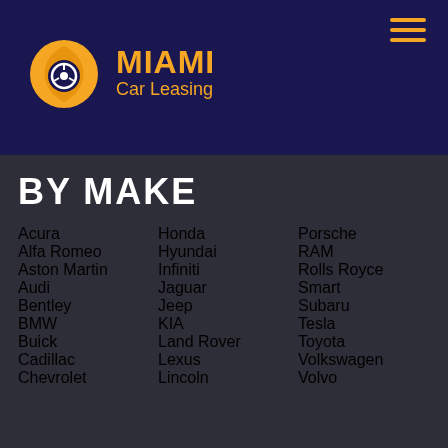[Figure (logo): Miami Car Leasing logo — orange car/leaf icon with MIAMI in orange bold text and 'Car Leasing' in orange below]
BY MAKE
Acura
Alfa Romeo
Aston Martin
Audi
Bentley
BMW
Buick
Cadillac
Chevrolet
Honda
Hyundai
Infiniti
Jaguar
Jeep
KIA
Land Rover
Lexus
Lincoln
Porsche
RAM
Rolls Royce
Smart
Subaru
Tesla
Toyota
Volkswagen
Volvo